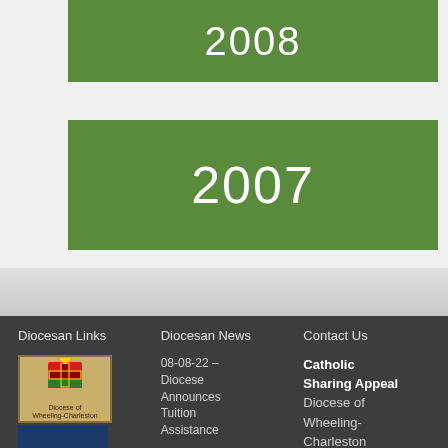2008
2007
Diocesan Links
Diocesan News
Contact Us
[Figure (logo): Diocese of Wheeling-Charleston crest logo on parchment background]
[Figure (logo): Second diocesan image with dark blue background]
08-08-22 – Diocese Announces Tuition Assistance
Catholic Sharing Appeal Diocese of Wheeling-Charleston